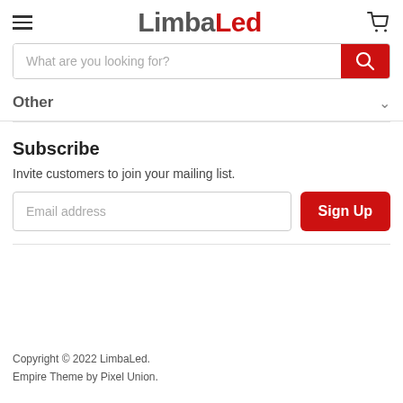LimbaLed
What are you looking for?
Other
Subscribe
Invite customers to join your mailing list.
Email address
Sign Up
Copyright © 2022 LimbaLed.
Empire Theme by Pixel Union.